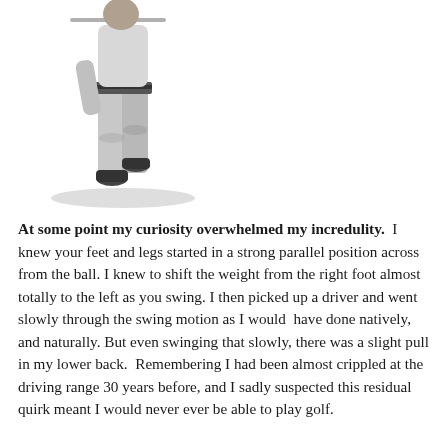[Figure (photo): Black and white photo of a golfer from behind, showing lower body (legs and torso with belt), mid-swing or walking, wearing light-colored trousers and dark golf shoes, with a shadow beneath.]
At some point my curiosity overwhelmed my incredulity.  I knew your feet and legs started in a strong parallel position across from the ball. I knew to shift the weight from the right foot almost totally to the left as you swing. I then picked up a driver and went slowly through the swing motion as I would  have done natively, and naturally. But even swinging that slowly, there was a slight pull in my lower back.  Remembering I had been almost crippled at the driving range 30 years before, and I sadly suspected this residual quirk meant I would never ever be able to play golf.